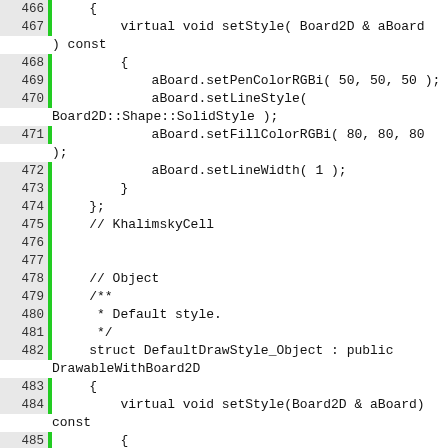Source code listing, lines 466-491, C++ code for DefaultDrawStyle implementations